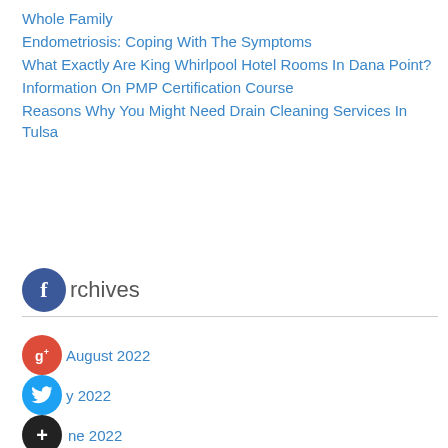Whole Family
Endometriosis: Coping With The Symptoms
What Exactly Are King Whirlpool Hotel Rooms In Dana Point?
Information On PMP Certification Course
Reasons Why You Might Need Drain Cleaning Services In Tulsa
Archives
August 2022
July 2022
June 2022
May 2022
April 2022
March 2022